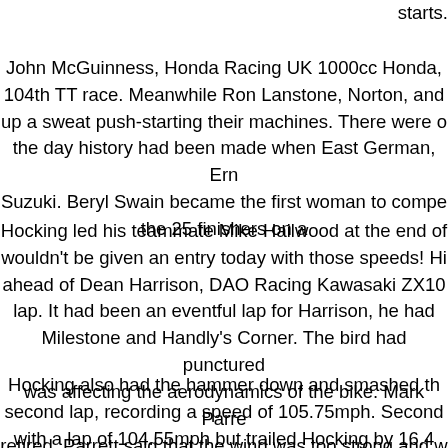starts.
John McGuinness, Honda Racing UK 1000cc Honda, 104th TT race. Meanwhile Ron Lanstone, Norton, and up a sweat push-starting their machines. There were the day history had been made when East German, Ern Suzuki. Beryl Swain became the first woman to compe the 25 finishers on a
Hocking led his teammate Mike Hailwood at the end of wouldn't be given an entry today with those speeds! Hi ahead of Dean Harrison, DAO Racing Kawasaki ZX10 lap. It had been an eventful lap for Harrison, he had Milestone and Handly's Corner. The bird had punctured was affecting the aerodynamics of the bike. Mark Parre retired. Parrett said that the wind was too strong and w overnight and was still feeli
Hocking also had the hammer down and smashed th second lap, recording a speed of 105.75mph. Second with a lap of 104.55mph but trailed Hocking by 16.4 sec but still increased his lead to 14.620 seconds at the